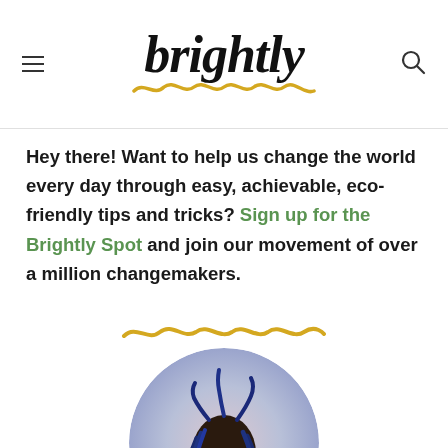brightly
Hey there! Want to help us change the world every day through easy, achievable, eco-friendly tips and tricks? Sign up for the Brightly Spot and join our movement of over a million changemakers.
[Figure (illustration): Yellow squiggly wave divider line]
[Figure (photo): Circular portrait photo of a young Black woman with long blue braided hair, wearing a turquoise earring, looking upward against a light pink-purple gradient background]